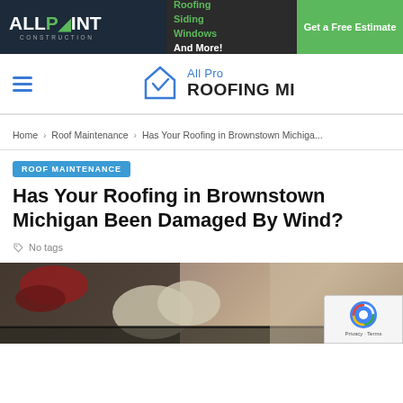[Figure (infographic): AllPoint Construction advertisement banner with logo, services (Roofing, Siding, Windows And More!), and green 'Get a Free Estimate' button]
All Pro ROOFING MI — site navigation header with hamburger menu and logo
Home > Roof Maintenance > Has Your Roofing in Brownstown Michiga...
ROOF MAINTENANCE
Has Your Roofing in Brownstown Michigan Been Damaged By Wind?
No tags
[Figure (photo): Photo of a roofer working on a roof, visible hands with work gloves working near roofing material]